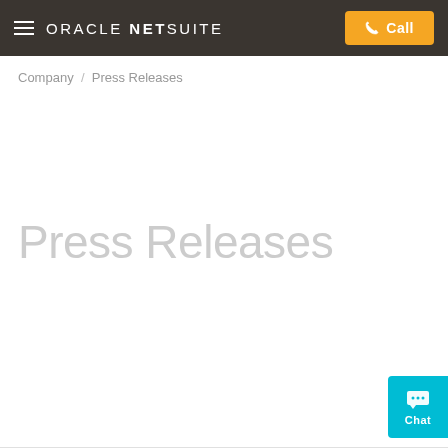ORACLE NETSUITE — Call
Company / Press Releases
Press Releases
[Figure (other): Chat widget button in cyan/teal color with chat bubble icon and 'Chat' label]